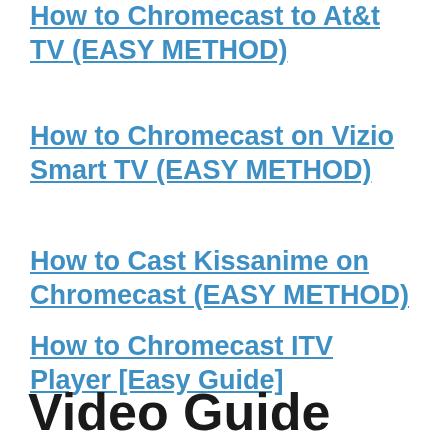How to Chromecast to At&t TV (EASY METHOD)
How to Chromecast on Vizio Smart TV (EASY METHOD)
How to Cast Kissanime on Chromecast (EASY METHOD)
How to Chromecast ITV Player [Easy Guide]
Video Guide